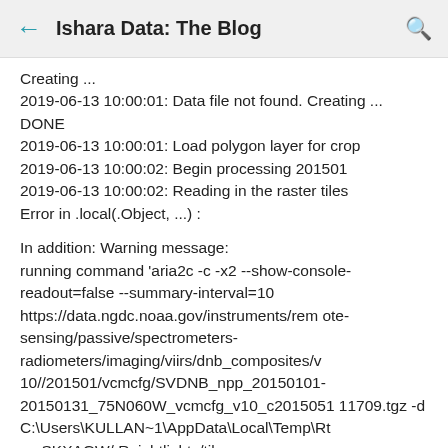Ishara Data: The Blog
Creating ...
2019-06-13 10:00:01: Data file not found. Creating ... DONE
2019-06-13 10:00:01: Load polygon layer for crop
2019-06-13 10:00:02: Begin processing 201501
2019-06-13 10:00:02: Reading in the raster tiles
Error in .local(.Object, ...) :

In addition: Warning message:
running command 'aria2c -c -x2 --show-console-readout=false --summary-interval=10 https://data.ngdc.noaa.gov/instruments/remote-sensing/passive/spectrometers-radiometers/imaging/viirs/dnb_composites/v10//201501/vcmcfg/SVDNB_npp_20150101-20150131_75N060W_vcmcfg_v10_c201505111709.tgz -d C:\Users\KULLAN~1\AppData\Local\Temp\RtmpSKXAGW/ Rnightlights/tiles -o